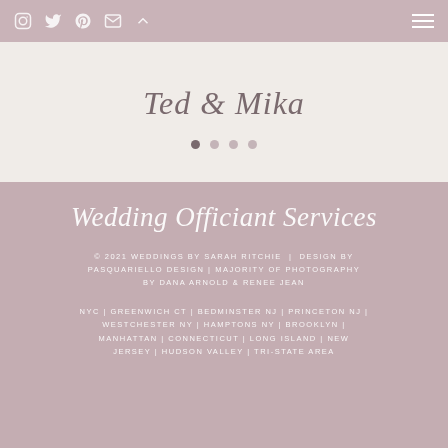Social media icons: Instagram, Twitter, Pinterest, Email, Up arrow; Hamburger menu
Ted & Mika
[Figure (other): Carousel pagination dots, 4 dots with first one active]
Wedding Officiant Services
© 2021 WEDDINGS BY SARAH RITCHIE | DESIGN BY PASQUARIELLO DESIGN | MAJORITY OF PHOTOGRAPHY BY DANA ARNOLD & RENEE JEAN
NYC | GREENWICH CT | BEDMINSTER NJ | PRINCETON NJ | WESTCHESTER NY | HAMPTONS NY | BROOKLYN | MANHATTAN | CONNECTICUT | LONG ISLAND | NEW JERSEY | HUDSON VALLEY | TRI-STATE AREA